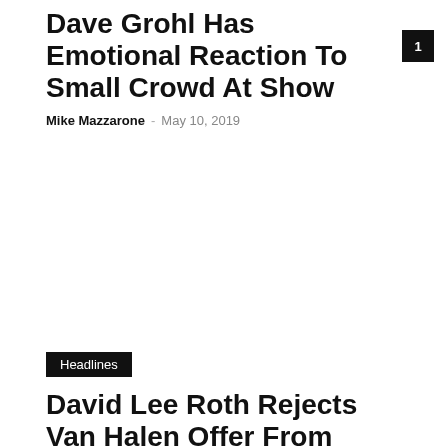Dave Grohl Has Emotional Reaction To Small Crowd At Show
Mike Mazzarone · May 10, 2019
[Figure (photo): Image placeholder for article about Dave Grohl]
Headlines
David Lee Roth Rejects Van Halen Offer From Sammy Hagar
Mike Mazzarone · May 8, 2019